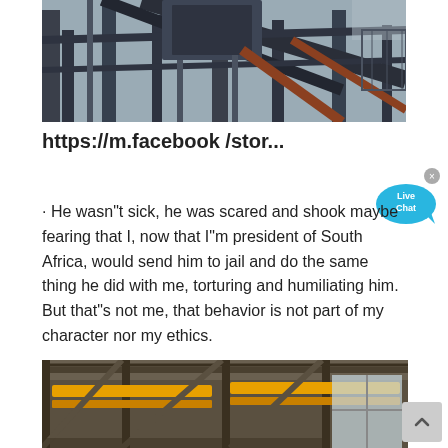[Figure (photo): Industrial steel structure with conveyor belts and scaffolding, photographed from below at an angle against a grey sky.]
https://m.facebook /stor...
· He wasn"t sick, he was scared and shook maybe fearing that I, now that I"m president of South Africa, would send him to jail and do the same thing he did with me, torturing and humiliating him. But that"s not me, that behavior is not part of my character nor my ethics.
[Figure (photo): Interior industrial building with yellow overhead crane structures and steel framework, partially visible at bottom of page.]